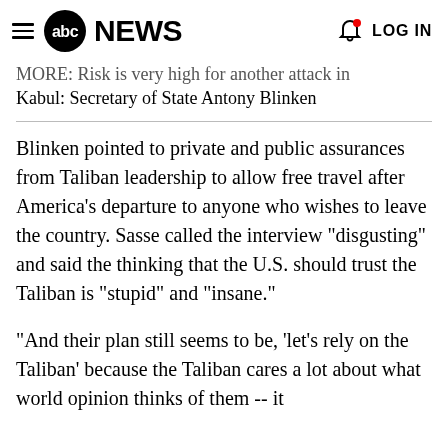abc NEWS   LOG IN
MORE: Risk is very high for another attack in Kabul: Secretary of State Antony Blinken
Blinken pointed to private and public assurances from Taliban leadership to allow free travel after America's departure to anyone who wishes to leave the country. Sasse called the interview "disgusting" and said the thinking that the U.S. should trust the Taliban is "stupid" and "insane."
"And their plan still seems to be, 'let's rely on the Taliban' because the Taliban cares a lot about what world opinion thinks of them -- it